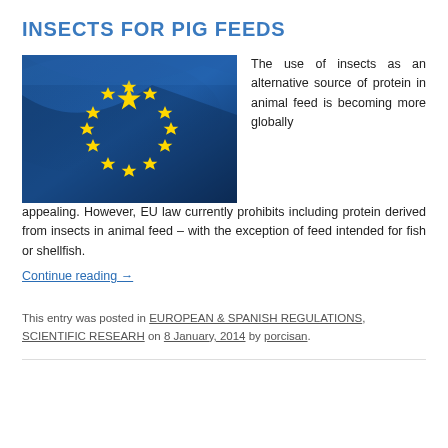INSECTS FOR PIG FEEDS
[Figure (photo): Photo of a European Union flag with yellow stars on blue background, waving and illuminated.]
The use of insects as an alternative source of protein in animal feed is becoming more globally appealing. However, EU law currently prohibits including protein derived from insects in animal feed – with the exception of feed intended for fish or shellfish. Continue reading →
This entry was posted in EUROPEAN & SPANISH REGULATIONS, SCIENTIFIC RESEARH on 8 January, 2014 by porcisan.